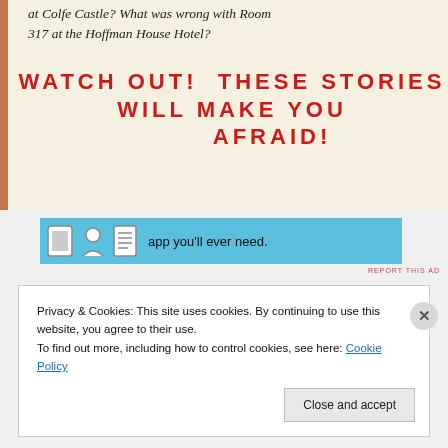at Colfe Castle? What was wrong with Room 317 at the Hoffman House Hotel?
WATCH OUT! THESE STORIES WILL MAKE YOU AFRAID!
[Figure (infographic): Horizontal advertisement banner with light blue background showing app icons (tablet, person, notepad) and text 'app you’ll ever need.' with small white dot decorations]
REPORT THIS AD
Privacy & Cookies: This site uses cookies. By continuing to use this website, you agree to their use.
To find out more, including how to control cookies, see here: Cookie Policy
Close and accept